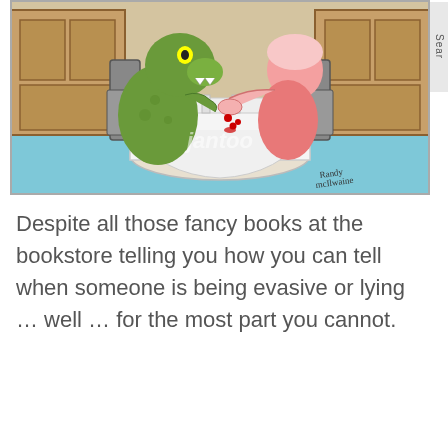[Figure (illustration): A cartoon illustration showing a green monster/creature sitting at a round table covered with a white tablecloth, facing a pink person seated across. The monster appears to be eating or biting the person's hand which is dripping red. Chairs are visible on both sides. The image has a 'jantoo' watermark in the center and is signed 'Randy McIlwaine' in the lower right. A partial 'Sear...' tab is visible on the right edge.]
Despite all those fancy books at the bookstore telling you how you can tell when someone is being evasive or lying … well … for the most part you cannot.